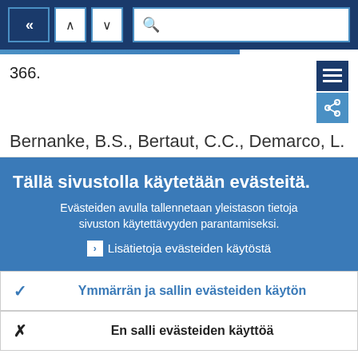[Figure (screenshot): Navigation bar with back button (double left chevron), up and down arrow buttons, and a search bar with magnifying glass icon, on a dark blue background]
366.
Bernanke, B.S., Bertaut, C.C., Demarco, L.
Tällä sivustolla käytetään evästeitä.
Evästeiden avulla tallennetaan yleistason tietoja sivuston käytettävyyden parantamiseksi.
Lisätietoja evästeiden käytöstä
Ymmärrän ja sallin evästeiden käytön
En salli evästeiden käyttöä